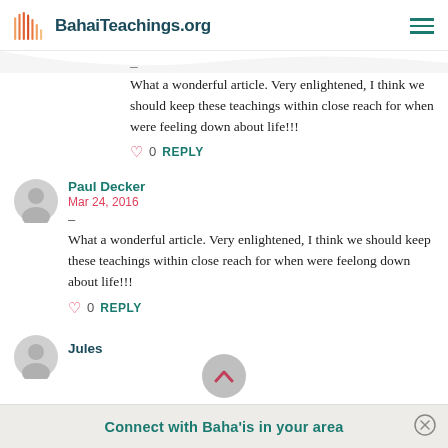BahaiTeachings.org
– What a wonderful article. Very enlightened, I think we should keep these teachings within close reach for when were feeling down about life!!!
0 REPLY
Paul Decker
Mar 24, 2016
– What a wonderful article. Very enlightened, I think we should keep these teachings within close reach for when were feelong down about life!!!
0 REPLY
Jules
Connect with Baha'is in your area